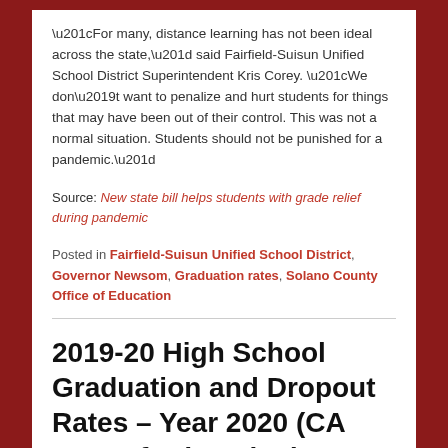“For many, distance learning has not been ideal across the state,” said Fairfield-Suisun Unified School District Superintendent Kris Corey. “We don’t want to penalize and hurt students for things that may have been out of their control. This was not a normal situation. Students should not be punished for a pandemic.”
Source: New state bill helps students with grade relief during pandemic
Posted in Fairfield-Suisun Unified School District, Governor Newsom, Graduation rates, Solano County Office of Education
2019-20 High School Graduation and Dropout Rates – Year 2020 (CA Dept of Education)